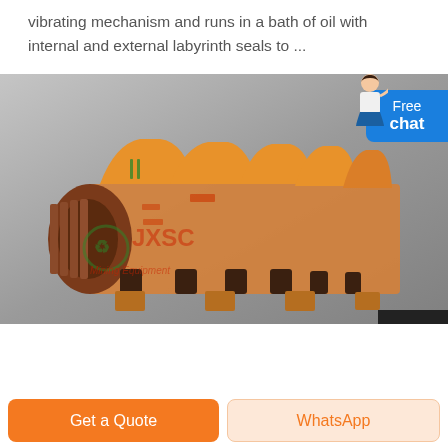vibrating mechanism and runs in a bath of oil with internal and external labyrinth seals to ...
[Figure (photo): Orange industrial mining/screening machine (vibrating screen or similar) with multiple compartments and a motor on the left side, shown in 3D render against a grey background. Green and red watermark overlay reading 'JXSC Mining Equipment'.]